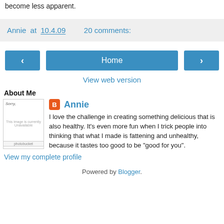become less apparent.
Annie at 10.4.09   20 comments:
< Home >
View web version
About Me
Annie
I love the challenge in creating something delicious that is also healthy. It's even more fun when I trick people into thinking that what I made is fattening and unhealthy, because it tastes too good to be "good for you".
View my complete profile
Powered by Blogger.